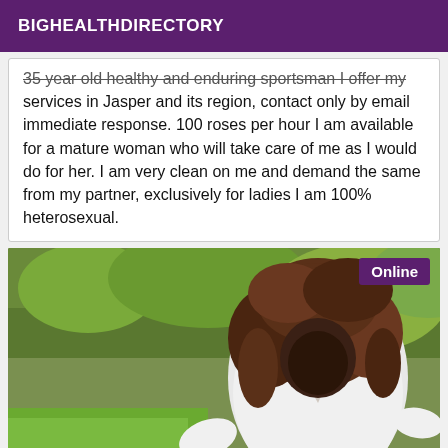BIGHEALTHDIRECTORY
35 year old healthy and enduring sportsman I offer my services in Jasper and its region, contact only by email immediate response. 100 roses per hour I am available for a mature woman who will take care of me as I would do for her. I am very clean on me and demand the same from my partner, exclusively for ladies I am 100% heterosexual.
[Figure (photo): A woman with curly brown hair wearing a white top, photographed outdoors in front of green bushes. Face is not clearly visible. An 'Online' badge appears in the top right corner.]